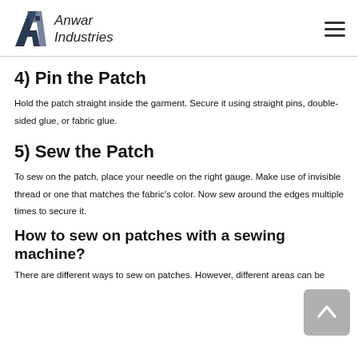Anwar Industries
4) Pin the Patch
Hold the patch straight inside the garment. Secure it using straight pins, double-sided glue, or fabric glue.
5) Sew the Patch
To sew on the patch, place your needle on the right gauge. Make use of invisible thread or one that matches the fabric's color. Now sew around the edges multiple times to secure it.
How to sew on patches with a sewing machine?
There are different ways to sew on patches. However, different areas can be